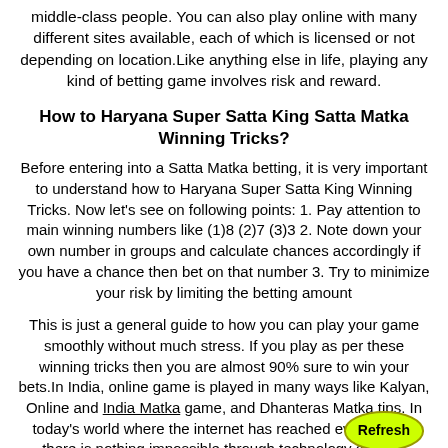middle-class people. You can also play online with many different sites available, each of which is licensed or not depending on location.Like anything else in life, playing any kind of betting game involves risk and reward.
How to Haryana Super Satta King Satta Matka Winning Tricks?
Before entering into a Satta Matka betting, it is very important to understand how to Haryana Super Satta King Winning Tricks. Now let's see on following points: 1. Pay attention to main winning numbers like (1)8 (2)7 (3)3 2. Note down your own number in groups and calculate chances accordingly if you have a chance then bet on that number 3. Try to minimize your risk by limiting the betting amount
This is just a general guide to how you can play your game smoothly without much stress. If you play as per these winning tricks then you are almost 90% sure to win your bets.In India, online game is played in many ways like Kalyan, Online and India Matka game, and Dhanteras Matka tips. In today's world where the internet has reached every place, there is nothing impossible through technology and the internet, we can do everything easily and quickly.